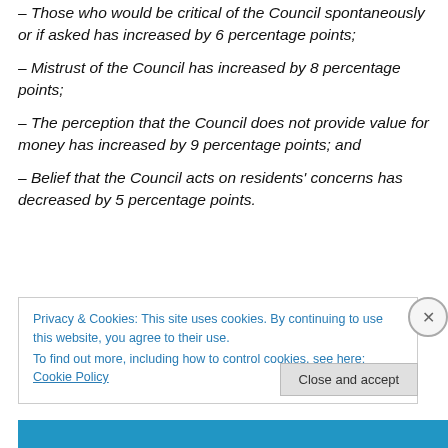– Those who would be critical of the Council spontaneously or if asked has increased by 6 percentage points;
– Mistrust of the Council has increased by 8 percentage points;
– The perception that the Council does not provide value for money has increased by 9 percentage points; and
– Belief that the Council acts on residents' concerns has decreased by 5 percentage points.
Privacy & Cookies: This site uses cookies. By continuing to use this website, you agree to their use.
To find out more, including how to control cookies, see here: Cookie Policy
Close and accept